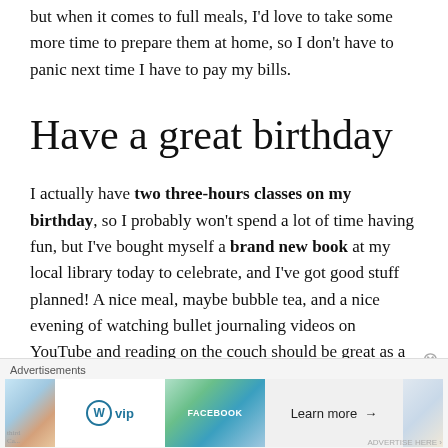but when it comes to full meals, I'd love to take some more time to prepare them at home, so I don't have to panic next time I have to pay my bills.
Have a great birthday
I actually have two three-hours classes on my birthday, so I probably won't spend a lot of time having fun, but I've bought myself a brand new book at my local library today to celebrate, and I've got good stuff planned! A nice meal, maybe bubble tea, and a nice evening of watching bullet journaling videos on YouTube and reading on the couch should be great as a birthday not party, and will help me
[Figure (screenshot): Advertisement banner at the bottom of the page featuring WordPress VIP logo and Learn more button with decorative background images]